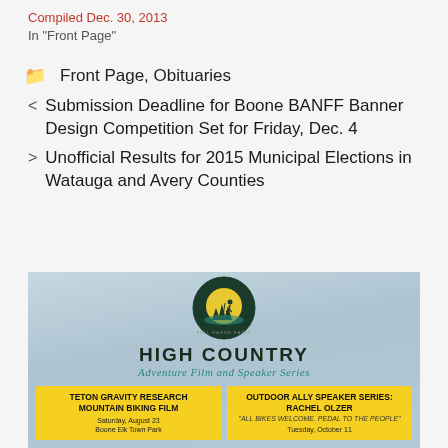Compiled Dec. 30, 2013
In "Front Page"
Front Page, Obituaries
< Submission Deadline for Boone BANFF Banner Design Competition Set for Friday, Dec. 4
> Unofficial Results for 2015 Municipal Elections in Watauga and Avery Counties
[Figure (illustration): High Country Adventure Film and Speaker Series promotional image with circular hiker logo, showing two yellow event boxes: Teton Gravity Research Mountain Biking Film (Saturday, August 23, Boone Elk Town Park) and Outdoor Ally Speaker Series: Rachel Olzer ('All Bikes Welcome. Pedal to the People', Tuesday, October 11)]